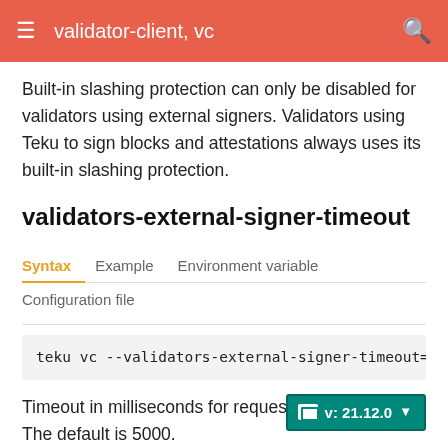validator-client, vc
Built-in slashing protection can only be disabled for validators using external signers. Validators using Teku to sign blocks and attestations always uses its built-in slashing protection.
validators-external-signer-timeout
Syntax | Example | Environment variable | Configuration file
teku vc --validators-external-signer-timeout=<INTE
Timeout in milliseconds for requests to t... v: 21.12.0 The default is 5000.